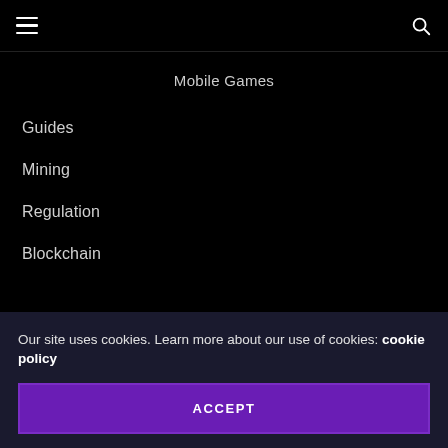Navigation bar with hamburger menu and search icon
Mobile Games
Guides
Mining
Regulation
Blockchain
Our site uses cookies. Learn more about our use of cookies: cookie policy
ACCEPT